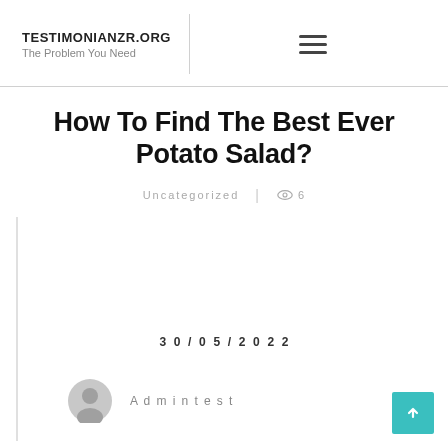TESTIMONIANZR.ORG
The Problem You Need
How To Find The Best Ever Potato Salad?
Uncategorized | 👁 6
30/05/2022
Admintest